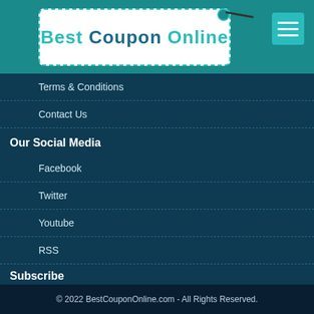[Figure (logo): Best Coupon Online logo in a tag shape with teal dashed border and hamburger menu icon]
Terms & Conditions
Contact Us
Our Social Media
Facebook
Twitter
Youtube
RSS
Subscribe
E-mail  |  E-Mail Address ..  |  Subscribe !
[Figure (other): DMCA PROTECTED badge]
© 2022 BestCouponOnline.com - All Rights Reserved.